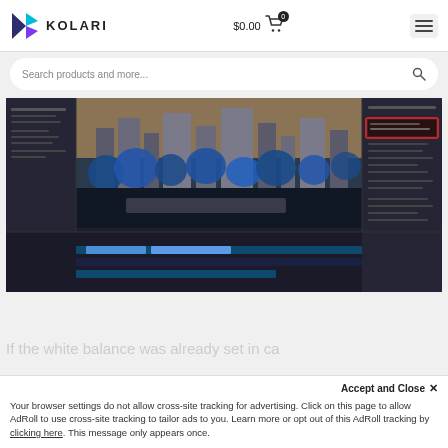KOLARI   $0.00  [cart: 0]
Search products and more...
[Figure (screenshot): Adobe Premiere Pro video editing interface showing a dark-themed workspace with a cityscape infrared photo (blue-toned trees, buildings near water), with a red highlighted panel on the right side showing LUT/color grading settings, and a timeline panel at the bottom with clips and keyframes.]
If the white balance was already set in ca
Your browser settings do not allow cross-site tracking for advertising. Click on this page to allow AdRoll to use cross-site tracking to tailor ads to you. Learn more or opt out of this AdRoll tracking by clicking here. This message only appears once.